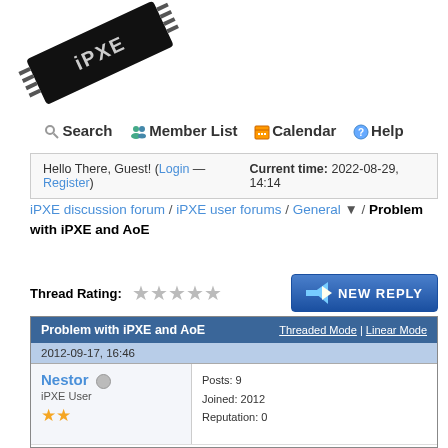[Figure (logo): iPXE logo chip image, black chip with iPXE text, rotated at an angle]
Search   Member List   Calendar   Help
Hello There, Guest! (Login — Register)   Current time: 2022-08-29, 14:14
iPXE discussion forum / iPXE user forums / General / Problem with iPXE and AoE
Thread Rating:  [5 stars]  NEW REPLY
| Problem with iPXE and AoE | Threaded Mode | Linear Mode |
| --- | --- |
| 2012-09-17, 16:46 |  |
| Nestor [offline icon]
iPXE User
★★ | Posts: 9
Joined: 2012
Reputation: 0 |
| Problem with iPXE and AoE

Hello, |  |